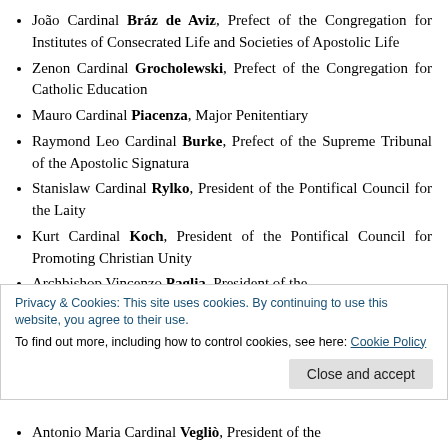João Cardinal Bráz de Aviz, Prefect of the Congregation for Institutes of Consecrated Life and Societies of Apostolic Life
Zenon Cardinal Grocholewski, Prefect of the Congregation for Catholic Education
Mauro Cardinal Piacenza, Major Penitentiary
Raymond Leo Cardinal Burke, Prefect of the Supreme Tribunal of the Apostolic Signatura
Stanislaw Cardinal Rylko, President of the Pontifical Council for the Laity
Kurt Cardinal Koch, President of the Pontifical Council for Promoting Christian Unity
Archbishop Vincenzo Paglia, President of the
Privacy & Cookies: This site uses cookies. By continuing to use this website, you agree to their use.
To find out more, including how to control cookies, see here: Cookie Policy
Antonio Maria Cardinal Vegliò, President of the